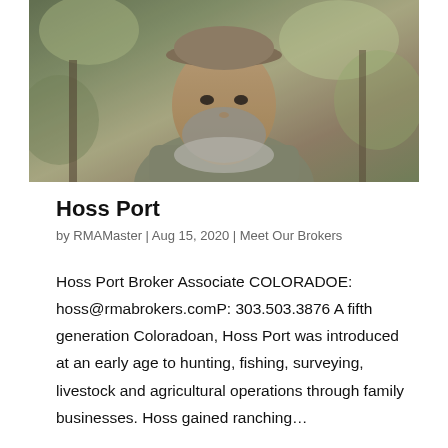[Figure (photo): Outdoor selfie of a bearded man wearing a camouflage jacket and cap, with trees and foliage in the background.]
Hoss Port
by RMAMaster | Aug 15, 2020 | Meet Our Brokers
Hoss Port Broker Associate COLORADOE: hoss@rmabrokers.comP: 303.503.3876 A fifth generation Coloradoan, Hoss Port was introduced at an early age to hunting, fishing, surveying, livestock and agricultural operations through family businesses. Hoss gained ranching...